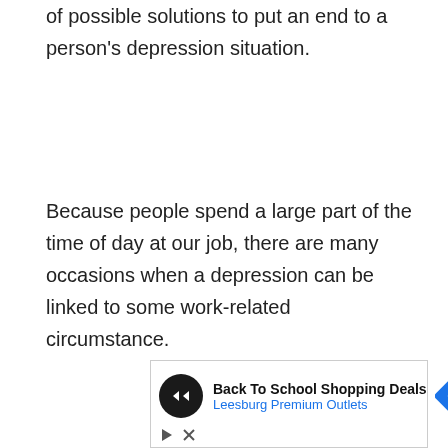of possible solutions to put an end to a person's depression situation.
Because people spend a large part of the time of day at our job, there are many occasions when a depression can be linked to some work-related circumstance.
[Figure (other): Advertisement box for 'Back To School Shopping Deals' at Leesburg Premium Outlets, with a circular dark icon containing a double-arrow symbol and a blue diamond navigation icon on the right. Below are small play and close/dismiss icons.]